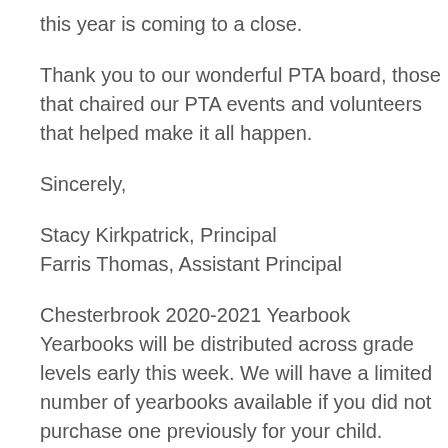this year is coming to a close.
Thank you to our wonderful PTA board, those that chaired our PTA events and volunteers that helped make it all happen.
Sincerely,
Stacy Kirkpatrick, Principal
Farris Thomas, Assistant Principal
Chesterbrook 2020-2021 Yearbook
Yearbooks will be distributed across grade levels early this week. We will have a limited number of yearbooks available if you did not purchase one previously for your child.